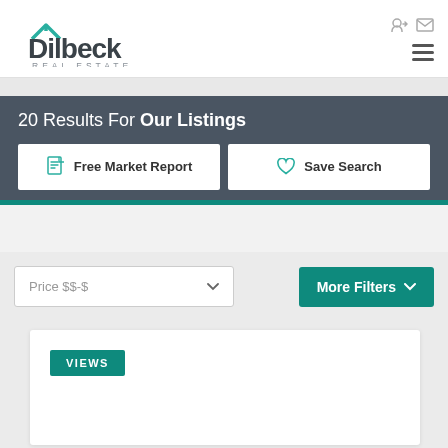[Figure (logo): Dilbeck Real Estate logo with teal house roof icon]
20 Results For Our Listings
Free Market Report
Save Search
Price $$-$
More Filters
VIEWS